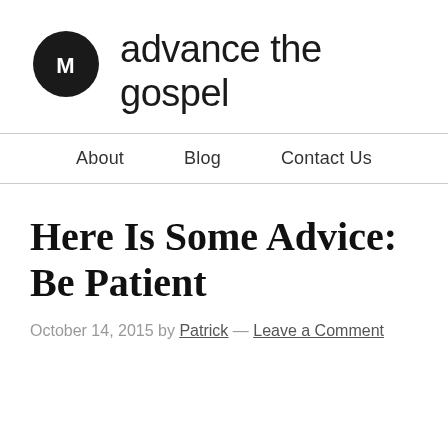[Figure (logo): Black circular logo with a white letter M at the bottom, resembling a location pin or drop shape]
advance the gospel
About   Blog   Contact Us
Here Is Some Advice: Be Patient
October 14, 2015 by Patrick — Leave a Comment